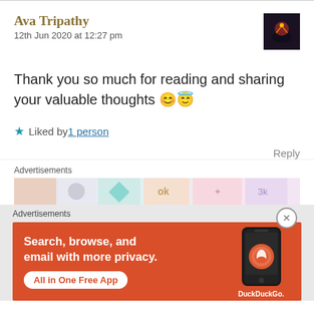Ava Tripathy
12th Jun 2020 at 12:27 pm
Thank you so much for reading and sharing your valuable thoughts 😊😇
★ Liked by 1 person
Reply
Advertisements
[Figure (other): Advertisement banner strip with colorful gift wrap patterns]
Advertisements
[Figure (other): DuckDuckGo advertisement: Search, browse, and email with more privacy. All in One Free App. Shows DuckDuckGo logo on a phone mockup.]